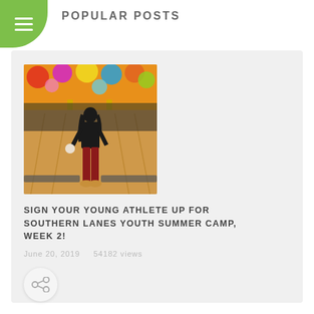POPULAR POSTS
[Figure (photo): A young athlete viewed from behind standing at a bowling alley lane, wearing a black top and dark red pants, with colorful bowling alley decor in the background.]
SIGN YOUR YOUNG ATHLETE UP FOR SOUTHERN LANES YOUTH SUMMER CAMP, WEEK 2!
June 20, 2019    54182 views